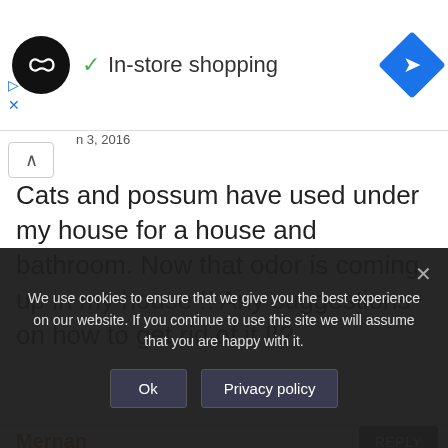[Figure (screenshot): Top banner with logo circle, 'In-store shopping' text with checkmark, and blue navigation diamond icon]
n 3, 2016
Cats and possum have used under my house for a house and bathroom. Now that odor is coming up in my house !! Any suggestions on how to get rid of it !!?
Mernan
REPLY
We use cookies to ensure that we give you the best experience on our website. If you continue to use this site we will assume that you are happy with it.
Ok
Privacy policy